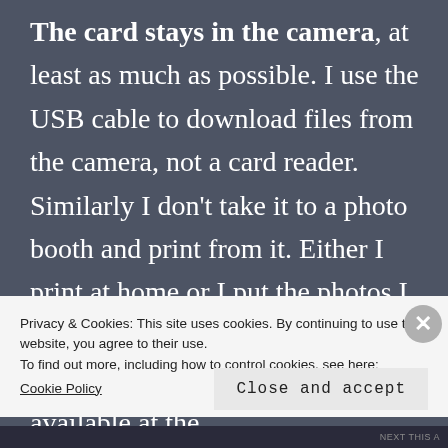The card stays in the camera, at least as much as possible. I use the USB cable to download files from the camera, not a card reader. Similarly I don't take it to a photo booth and print from it. Either I print at home or I put the photos I want on a cd and take that to the shop. I bought the largest card available at the
Privacy & Cookies: This site uses cookies. By continuing to use this website, you agree to their use.
To find out more, including how to control cookies, see here:
Cookie Policy
Close and accept